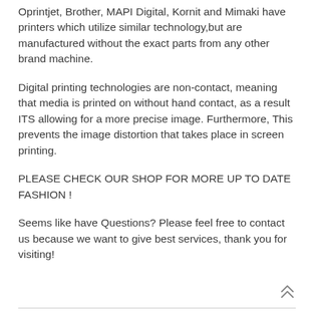Oprintjet, Brother, MAPI Digital, Kornit and Mimaki have printers which utilize similar technology,but are manufactured without the exact parts from any other brand machine.
Digital printing technologies are non-contact, meaning that media is printed on without hand contact, as a result ITS allowing for a more precise image. Furthermore, This prevents the image distortion that takes place in screen printing.
PLEASE CHECK OUR SHOP FOR MORE UP TO DATE FASHION !
Seems like have Questions? Please feel free to contact us because we want to give best services, thank you for visiting!